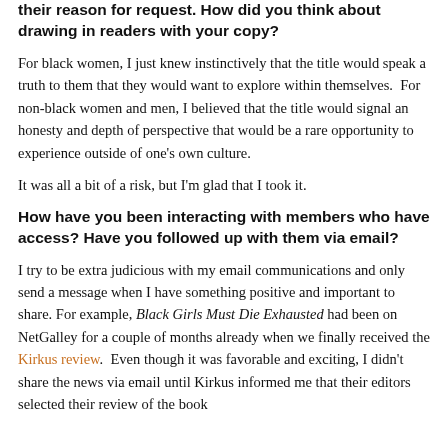their reason for request. How did you think about drawing in readers with your copy?
For black women, I just knew instinctively that the title would speak a truth to them that they would want to explore within themselves.  For non-black women and men, I believed that the title would signal an honesty and depth of perspective that would be a rare opportunity to experience outside of one's own culture.
It was all a bit of a risk, but I'm glad that I took it.
How have you been interacting with members who have access? Have you followed up with them via email?
I try to be extra judicious with my email communications and only send a message when I have something positive and important to share. For example, Black Girls Must Die Exhausted had been on NetGalley for a couple of months already when we finally received the Kirkus review.  Even though it was favorable and exciting, I didn't share the news via email until Kirkus informed me that their editors selected their review of the book